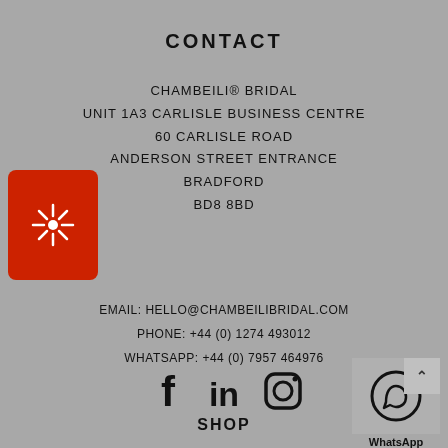CONTACT
CHAMBEILI® BRIDAL
UNIT 1A3 CARLISLE BUSINESS CENTRE
60 CARLISLE ROAD
ANDERSON STREET ENTRANCE
BRADFORD
BD8 8BD
EMAIL: HELLO@CHAMBEILIBRIDAL.COM
PHONE: +44 (0) 1274 493012
WHATSAPP: +44 (0) 7957 464976
[Figure (logo): Red rounded rectangle with white starburst/asterisk icon]
[Figure (infographic): Social media icons: Facebook (f), LinkedIn (in), Instagram (camera outline)]
[Figure (infographic): WhatsApp icon with phone handset in circle, labelled WhatsApp, with up arrow button]
SHOP